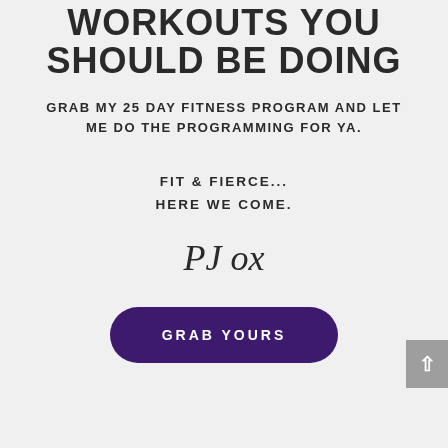WORKOUTS YOU SHOULD BE DOING
GRAB MY 25 DAY FITNESS PROGRAM AND LET ME DO THE PROGRAMMING FOR YA.
FIT & FIERCE... HERE WE COME.
PJ ox
GRAB YOURS